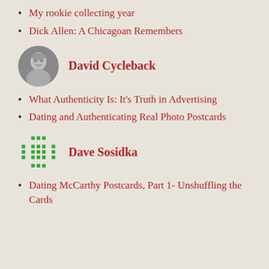My rookie collecting year
Dick Allen: A Chicagoan Remembers
David Cycleback
What Authenticity Is: It's Truth in Advertising
Dating and Authenticating Real Photo Postcards
Dave Sosidka
Dating McCarthy Postcards, Part 1- Unshuffling the Cards